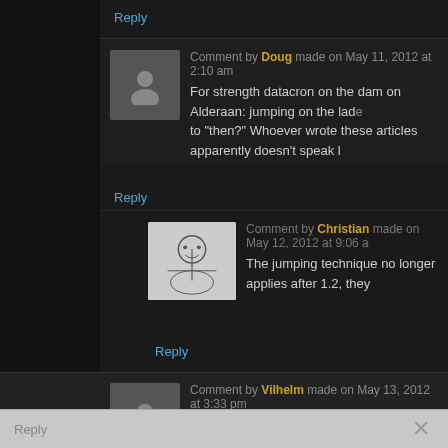Reply
Comment by Doug made on May 11, 2012 at 2:10 am
For strength datacron on the dam on Alderaan: jumping on the lad... to "then?" Whoever wrote these articles apparently doesn't speak l...
Reply
Comment by Christian made on May 12, 2012 at 9:06 a...
The jumping technique no longer applies after 1.2, they...
Reply
Comment by Vilhelm made on May 13, 2012 at 3:33 pm
Looks like they fixed the jumping route on the strength datacron.
Reply